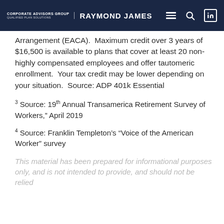CORPORATE ADVISORS GROUP QUALIFIED PLAN SOLUTIONS | RAYMOND JAMES
Arrangement (EACA).  Maximum credit over 3 years of $16,500 is available to plans that cover at least 20 non-highly compensated employees and offer tautomeric enrollment.  Your tax credit may be lower depending on your situation.  Source: ADP 401k Essential
3 Source: 19th Annual Transamerica Retirement Survey of Workers," April 2019
4 Source: Franklin Templeton's “Voice of the American Worker” survey
This material has been prepared for informational purposes only, and is not intended to provide, and should not be relied...